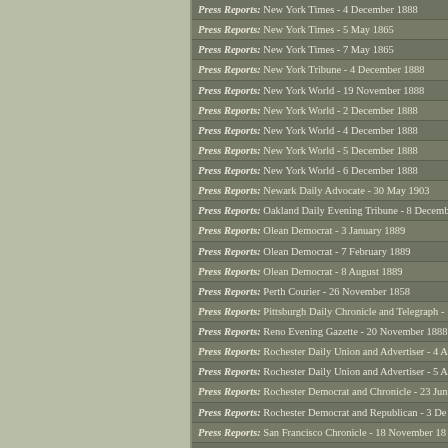Press Reports: New York Times - 4 December 1888
Press Reports: New York Times - 5 May 1865
Press Reports: New York Times - 7 May 1865
Press Reports: New York Tribune - 4 December 1888
Press Reports: New York World - 19 November 1888
Press Reports: New York World - 2 December 1888
Press Reports: New York World - 4 December 1888
Press Reports: New York World - 5 December 1888
Press Reports: New York World - 6 December 1888
Press Reports: Newark Daily Advocate - 30 May 1903
Press Reports: Oakland Daily Evening Tribune - 8 December
Press Reports: Olean Democrat - 3 January 1889
Press Reports: Olean Democrat - 7 February 1889
Press Reports: Olean Democrat - 8 August 1889
Press Reports: Perth Courier - 26 November 1858
Press Reports: Pittsburgh Daily Chronicle and Telegraph -
Press Reports: Reno Evening Gazette - 20 November 1888
Press Reports: Rochester Daily Union and Advertiser - 4 A
Press Reports: Rochester Daily Union and Advertiser - 5 A
Press Reports: Rochester Democrat and Chronicle - 23 Jun
Press Reports: Rochester Democrat and Republican - 3 De
Press Reports: San Francisco Chronicle - 18 November 18
Press Reports: San Francisco Chronicle - 20 November 18
Press Reports: San Francisco Chronicle - 23 November 18
Press Reports: San Francisco Daily Evening Bulletin - 23 N
Press Reports: San Francisco Daily Morning Call - 23 Nov
Press Reports: San Francisco Daily Report - 21 November
Press Reports: San Francisco Daily Report - 23 November
Press Reports: San Francisco Examiner - 25 November 188
Press Reports: San Francisco Examiner - 27 November 188
Press Reports: St. Thomas Weekly Dispatch - 20 March 18
Press Reports: St. Thomas Weekly Dispatch - 28 March 18